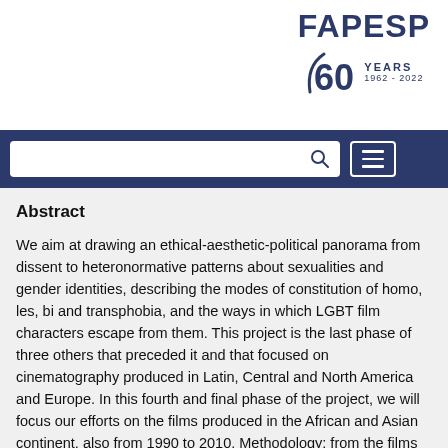FAPESP 60 YEARS 1962 - 2022
Abstract
We aim at drawing an ethical-aesthetic-political panorama from dissent to heteronormative patterns about sexualities and gender identities, describing the modes of constitution of homo, les, bi and transphobia, and the ways in which LGBT film characters escape from them. This project is the last phase of three others that preceded it and that focused on cinematography produced in Latin, Central and North America and Europe. In this fourth and final phase of the project, we will focus our efforts on the films produced in the African and Asian continent, also from 1990 to 2010. Methodology: from the films produced during the decades of 1990 to 2010 in the African and Asian countries presented in the explosion of the LGBT film festivals, specifically the MixBrazil of Diversity, we will undertake an analysis of the ethical-aesthetic-political discursive lines that support the expressions of homosexuality, especially masculine, as technologies of gender and